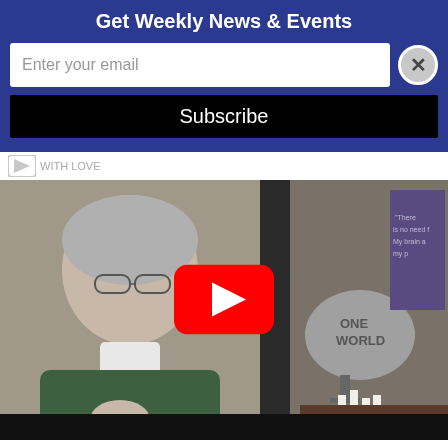Get Weekly News & Events
Enter your email
Subscribe
[Figure (screenshot): YouTube video thumbnail showing an elderly woman with glasses wearing a dark green sweater, sitting in front of a decoration with 'ONE WORLD' text on a stone, candles, and a purple poster in the background. A red YouTube play button is centered on the image.]
“I Am Enough” with Rev. Christine Kell